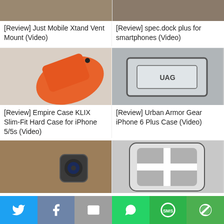[Figure (photo): Partial top image of Just Mobile Xtand Vent Mount on left]
[Figure (photo): Partial top image of spec.dock plus for smartphones on right]
[Review] Just Mobile Xtand Vent Mount (Video)
[Review] spec.dock plus for smartphones (Video)
[Figure (photo): Orange iPhone case - Empire Case KLIX Slim-Fit Hard Case for iPhone 5/5s]
[Figure (photo): UAG clear hard case - Urban Armor Gear iPhone 6 Plus Case]
[Review] Empire Case KLIX Slim-Fit Hard Case for iPhone 5/5s (Video)
[Review] Urban Armor Gear iPhone 6 Plus Case (Video)
[Figure (photo): Wood-back Samsung Galaxy phone close-up on left (partial)]
[Figure (photo): White and grey Speck phone case on right (partial)]
[Figure (infographic): Social sharing bar with Twitter, Facebook, Email, WhatsApp, SMS, and More buttons]